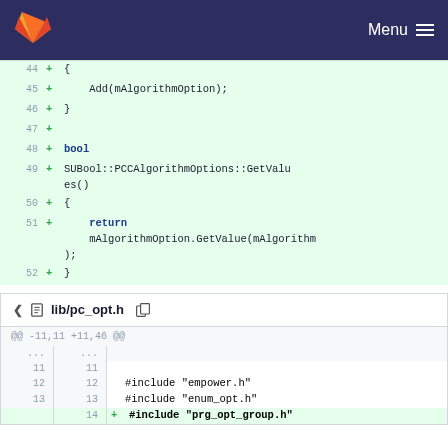GitLab navigation bar with logo and Menu
[Figure (screenshot): Code diff view showing lines 44-52 with added lines in green background. Line 44: + {, Line 45: +     Add(mAlgorithmOption);, Line 46: + }, Line 47: +, Line 48: + bool, Line 49: + SUBool::PCCAlgorithmOptions::GetValues(), Line 50: + {, Line 51: +     return mAlgorithmOption.GetValue(mAlgorithm);, Line 52: + }]
lib/pc_opt.h
[Figure (screenshot): Code diff view for lib/pc_opt.h showing hunk @@ -11,11 +11,46 @@. Lines 11-13 unchanged: blank, #include empower.h, #include enum_opt.h. Line 14 added: #include prg_opt_group.h]